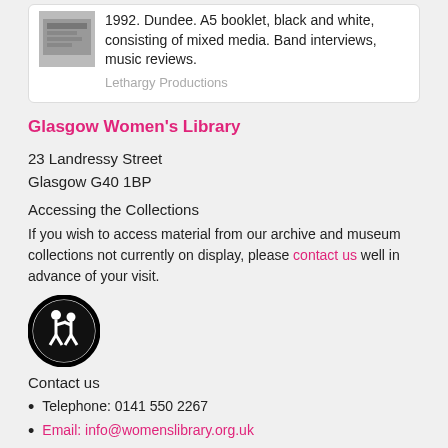1992. Dundee. A5 booklet, black and white, consisting of mixed media. Band interviews, music reviews.
Lethargy Productions
Glasgow Women's Library
23 Landressy Street
Glasgow G40 1BP
Accessing the Collections
If you wish to access material from our archive and museum collections not currently on display, please contact us well in advance of your visit.
[Figure (illustration): Circular black icon with two figures, one assisting the other, accessibility/wheelchair assistance symbol]
Contact us
Telephone: 0141 550 2267
Email: info@womenslibrary.org.uk
Via web form